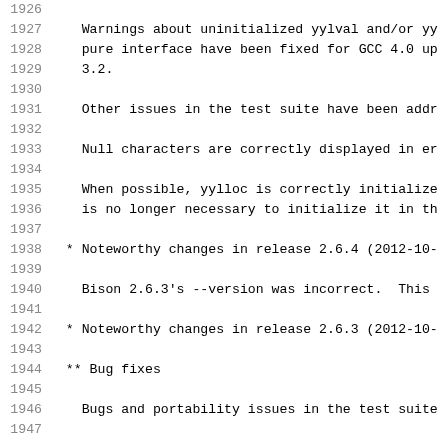1926
1927    Warnings about uninitialized yylval and/or yy
1928    pure interface have been fixed for GCC 4.0 up
1929    3.2.
1930
1931    Other issues in the test suite have been addr
1932
1933    Null characters are correctly displayed in er
1934
1935    When possible, yylloc is correctly initialize
1936    is no longer necessary to initialize it in th
1937
1938  * Noteworthy changes in release 2.6.4 (2012-10-
1939
1940    Bison 2.6.3's --version was incorrect.  This
1941
1942  * Noteworthy changes in release 2.6.3 (2012-10-
1943
1944  ** Bug fixes
1945
1946    Bugs and portability issues in the test suite
1947